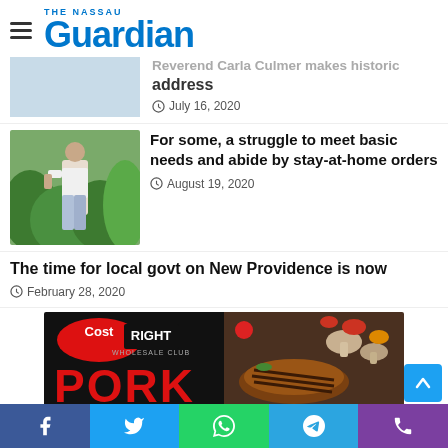THE NASSAU Guardian
Reverend Carla Culmer makes historic address
July 16, 2020
[Figure (photo): Man standing outdoors near green plants]
For some, a struggle to meet basic needs and abide by stay-at-home orders
August 19, 2020
The time for local govt on New Providence is now
February 28, 2020
[Figure (photo): Cost Right Wholesale Club advertisement featuring pork and vegetables]